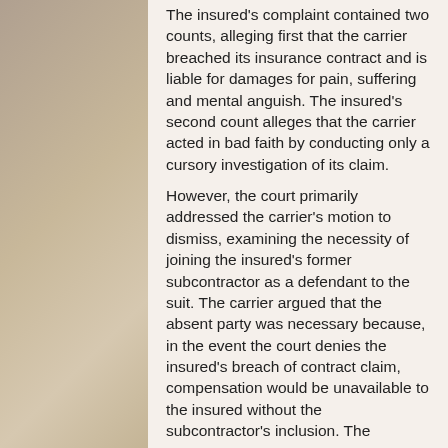The insured's complaint contained two counts, alleging first that the carrier breached its insurance contract and is liable for damages for pain, suffering and mental anguish. The insured's second count alleges that the carrier acted in bad faith by conducting only a cursory investigation of its claim. However, the court primarily addressed the carrier's motion to dismiss, examining the necessity of joining the insured's former subcontractor as a defendant to the suit. The carrier argued that the absent party was necessary because, in the event the court denies the insured's breach of contract claim, compensation would be unavailable to the insured without the subcontractor's inclusion. The